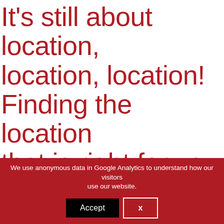It's still about location, location, location! Finding the location that is right for you and your goals
We use anonymous data in Google Analytics to understand how our visitors use our website.